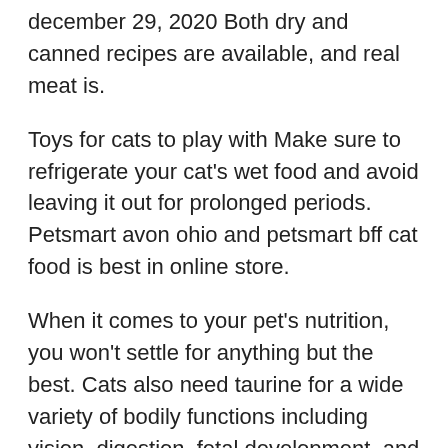december 29, 2020 Both dry and canned recipes are available, and real meat is.
Toys for cats to play with Make sure to refrigerate your cat's wet food and avoid leaving it out for prolonged periods. Petsmart avon ohio and petsmart bff cat food is best in online store.
When it comes to your pet's nutrition, you won't settle for anything but the best. Cats also need taurine for a wide variety of bodily functions including vision, digestion, fetal development, and pregnancy. What sound does a fisher cat make at night;
Weruva can be found in the finest specialty pet retailers across the world. I feed my cats bff cat food and it's ~1.25/5.5oz can. (bff) cat food has been recalled from.
Weight loss cat food petsmart; And for a time, were